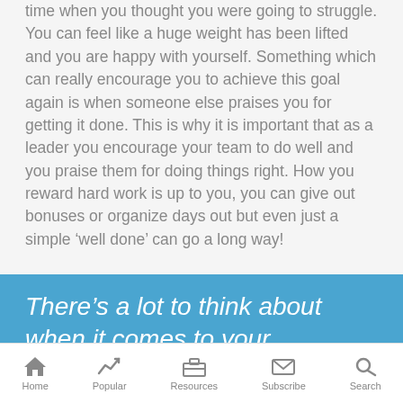time when you thought you were going to struggle. You can feel like a huge weight has been lifted and you are happy with yourself. Something which can really encourage you to achieve this goal again is when someone else praises you for getting it done. This is why it is important that as a leader you encourage your team to do well and you praise them for doing things right. How you reward hard work is up to you, you can give out bonuses or organize days out but even just a simple ‘well done’ can go a long way!
There’s a lot to think about when it comes to your employees, and to make
Home | Popular | Resources | Subscribe | Search